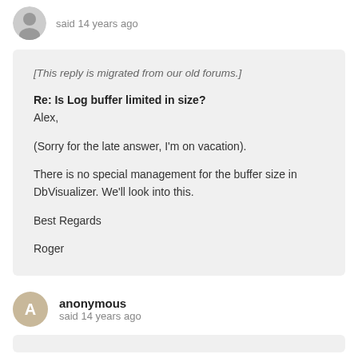said 14 years ago
[This reply is migrated from our old forums.]

Re: Is Log buffer limited in size?
Alex,

(Sorry for the late answer, I'm on vacation).

There is no special management for the buffer size in DbVisualizer. We'll look into this.

Best Regards

Roger
anonymous
said 14 years ago